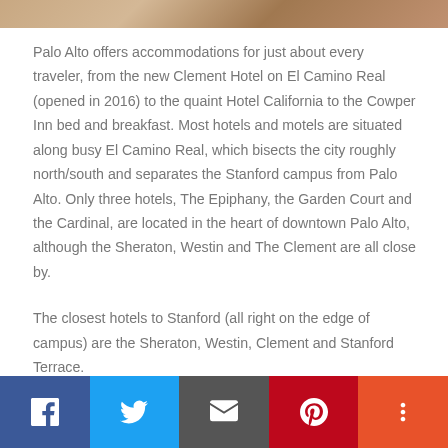[Figure (photo): Partial photo strip at top of page showing warm toned image (hotel/interior)]
Palo Alto offers accommodations for just about every traveler, from the new Clement Hotel on El Camino Real (opened in 2016) to the quaint Hotel California to the Cowper Inn bed and breakfast. Most hotels and motels are situated along busy El Camino Real, which bisects the city roughly north/south and separates the Stanford campus from Palo Alto. Only three hotels, The Epiphany, the Garden Court and the Cardinal, are located in the heart of downtown Palo Alto, although the Sheraton, Westin and The Clement are all close by.
The closest hotels to Stanford (all right on the edge of campus) are the Sheraton, Westin, Clement and Stanford Terrace.
All hotels and motels are within a short walk of restaurants and other essential needs, and all are within a five or ten minute drive of the Stanford campus. Except for major Stanford weekend events (graduation, football games, admit...